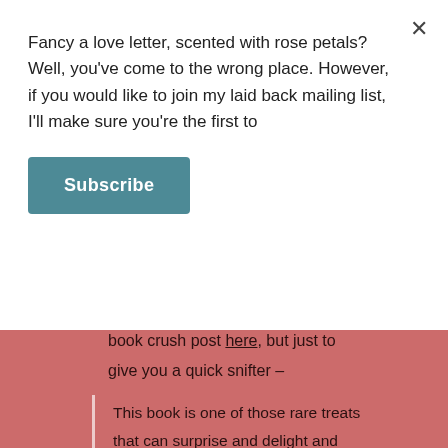Fancy a love letter, scented with rose petals? Well, you've come to the wrong place. However, if you would like to join my laid back mailing list, I'll make sure you're the first to
Subscribe
book crush post here, but just to give you a quick snifter –
This book is one of those rare treats that can surprise and delight and stretch the boundaries of genre. It's got EVERYTHING; a little bit of history, a generous helping of clever, wry humour and tons of humanity. The